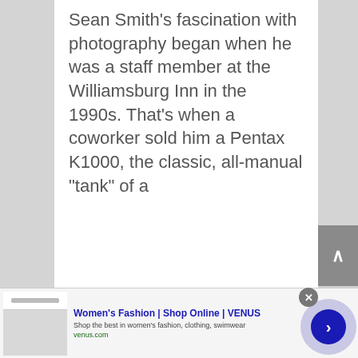Sean Smith’s fascination with photography began when he was a staff member at the Williamsburg Inn in the 1990s. That’s when a coworker sold him a Pentax K1000, the classic, all-manual “tank” of a
[Figure (screenshot): Advertisement banner for Women's Fashion | Shop Online | VENUS. Shows a website screenshot thumbnail on the left, ad title in bold blue, description text, and venus.com URL in green. Includes a close (x) button and a circular navigation arrow button.]